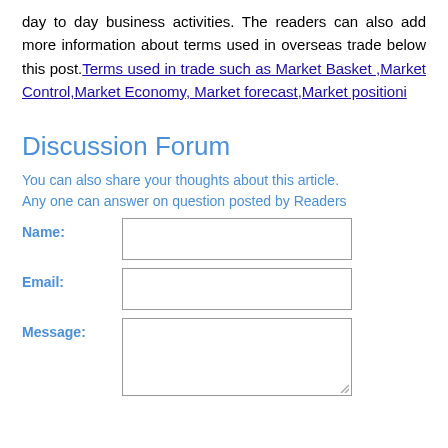day to day business activities. The readers can also add more information about terms used in overseas trade below this post. Terms used in trade such as Market Basket ,Market Control,Market Economy, Market forecast,Market positioni
Discussion Forum
You can also share your thoughts about this article. Any one can answer on question posted by Readers
Name: [input field]
Email: [input field]
Message: [textarea]